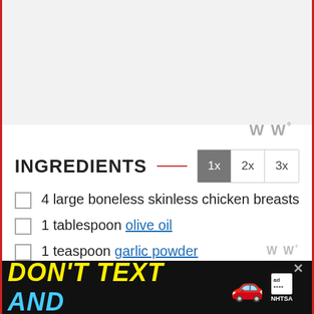[Figure (other): Top image area (recipe photo placeholder), light gray background]
[Figure (logo): WW degree logo watermark, light gray]
INGREDIENTS
4 large boneless skinless chicken breasts
1 tablespoon olive oil
1 teaspoon garlic powder
[Figure (other): Ad banner: DON'T TEXT AND [car emoji] NHTSA advertisement with close button]